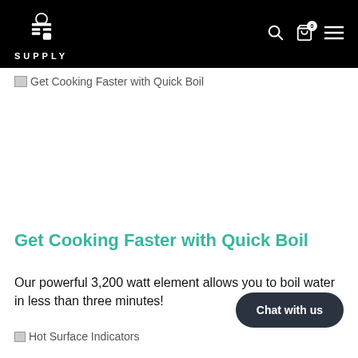SUPPLY
[Figure (screenshot): Broken image placeholder with alt text: Get Cooking Faster with Quick Boil]
Get Cooking Faster with Quick Boil
Our powerful 3,200 watt element allows you to boil water in less than three minutes!
[Figure (screenshot): Broken image placeholder with alt text: Hot Surface Indicators]
Chat with us